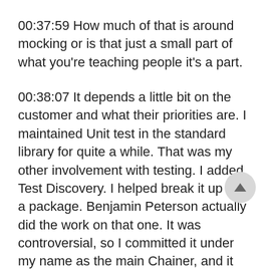00:37:59 How much of that is around mocking or is that just a small part of what you're teaching people it's a part.
00:38:07 It depends a little bit on the customer and what their priorities are. I maintained Unit test in the standard library for quite a while. That was my other involvement with testing. I added Test Discovery. I helped break it up into a package. Benjamin Peterson actually did the work on that one. It was controversial, so I committed it under my name as the main Chainer, and it happened.
00:38:30 But even so, I still recommend Pi Test for new projects. And I use Pi Test for new projects. And I will teach people to use unit tests. And there's often